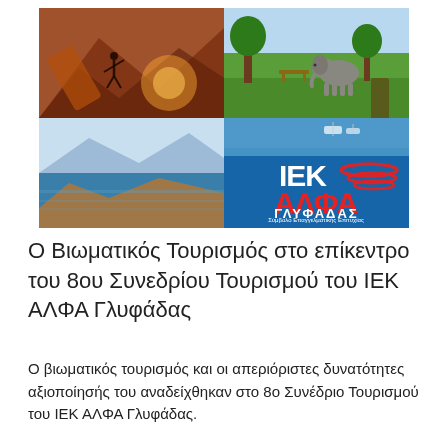[Figure (photo): A collage image showing outdoor tourism activities: rock climbing on the left top, a green park with an elephant in the top right, a coastal/sea landscape on the bottom left, and on the bottom right a blue panel with the IEK ALFA Glyfada logo (ΙΕΚ ΑΛΦΑ, Σύμβολο Επαγγελματικής Επιτυχίας, ΓΛΥΦΑΔΑΣ) and a marina with boats in the upper right portion.]
Ο Βιωματικός Τουρισμός στο επίκεντρο του 8ου Συνεδρίου Τουρισμού του ΙΕΚ ΑΛΦΑ Γλυφάδας
Ο βιωματικός τουρισμός και οι απεριόριστες δυνατότητες αξιοποίησής του αναδείχθηκαν στο 8ο Συνέδριο Τουρισμού του ΙΕΚ ΑΛΦΑ Γλυφάδας.